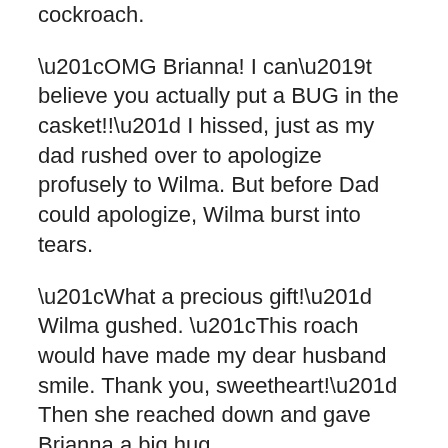cockroach.
“OMG Brianna! I can’t believe you actually put a BUG in the casket!!” I hissed, just as my dad rushed over to apologize profusely to Wilma. But before Dad could apologize, Wilma burst into tears.
“What a precious gift!” Wilma gushed. “This roach would have made my dear husband smile. Thank you, sweetheart!” Then she reached down and gave Brianna a big hug.
As we were leaving, Brianna stuck her tongue out at me and said, “I told you she’d love it!”
The good news is my parents probably won’t be dragging us to another funeral anytime soon!!!